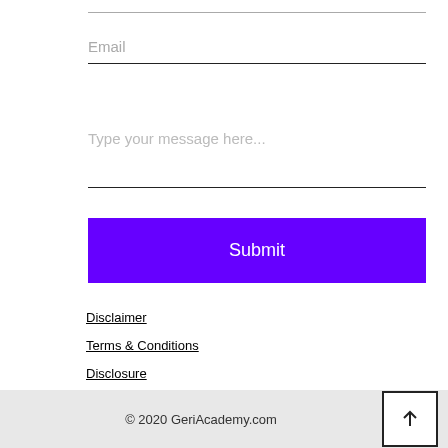Email
Type your message here...
Submit
Disclaimer
Terms & Conditions
Disclosure
Privacy Policy
© 2020 GeriAcademy.com